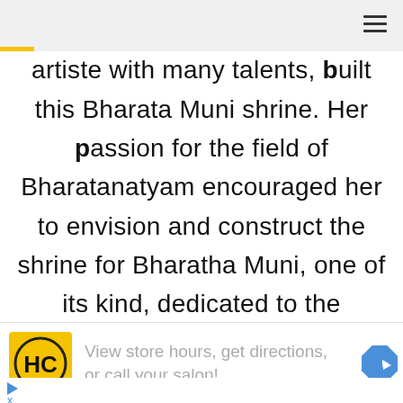≡
artiste with many talents, built this Bharata Muni shrine. Her passion for the field of Bharatanatyam encouraged her to envision and construct the shrine for Bharatha Muni, one of its kind, dedicated to the
View store hours, get directions, or call your salon!